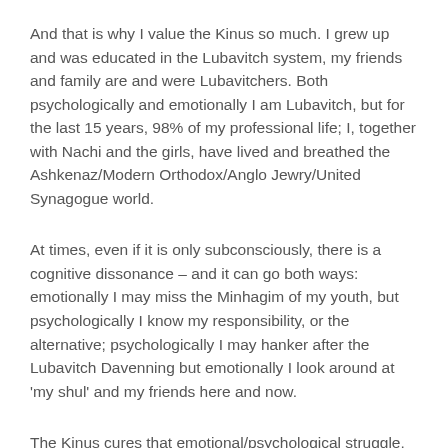And that is why I value the Kinus so much. I grew up and was educated in the Lubavitch system, my friends and family are and were Lubavitchers. Both psychologically and emotionally I am Lubavitch, but for the last 15 years, 98% of my professional life; I, together with Nachi and the girls, have lived and breathed the Ashkenaz/Modern Orthodox/Anglo Jewry/United Synagogue world.
At times, even if it is only subconsciously, there is a cognitive dissonance – and it can go both ways: emotionally I may miss the Minhagim of my youth, but psychologically I know my responsibility, or the alternative; psychologically I may hanker after the Lubavitch Davenning but emotionally I look around at 'my shul' and my friends here and now.
The Kinus cures that emotional/psychological struggle, specifically by highlighting and emphasising it. You get a